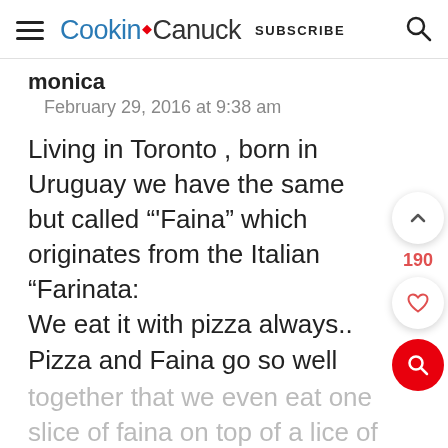Cookin' Canuck  SUBSCRIBE
monica
February 29, 2016 at 9:38 am
Living in Toronto , born in Uruguay we have the same but called "'Faina" which originates from the Italian "Farinata:
We eat it with pizza always..
Pizza and Faina go so well
together that we even eat one slice of faina on top of a lice of